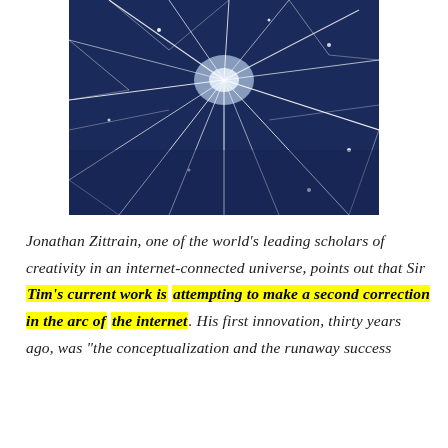[Figure (photo): A dramatic close-up photograph showing shattered or cracked glass against a dark blue background, with white fracture lines radiating outward.]
Jonathan Zittrain, one of the world's leading scholars of creativity in an internet-connected universe, points out that Sir Tim's current work is attempting to make a second correction in the arc of the internet. His first innovation, thirty years ago, was "the conceptualization and the runaway success